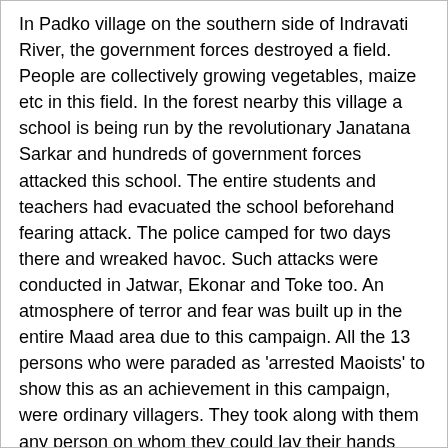In Padko village on the southern side of Indravati River, the government forces destroyed a field. People are collectively growing vegetables, maize etc in this field. In the forest nearby this village a school is being run by the revolutionary Janatana Sarkar and hundreds of government forces attacked this school. The entire students and teachers had evacuated the school beforehand fearing attack. The police camped for two days there and wreaked havoc. Such attacks were conducted in Jatwar, Ekonar and Toke too. An atmosphere of terror and fear was built up in the entire Maad area due to this campaign. All the 13 persons who were paraded as 'arrested Maoists' to show this as an achievement in this campaign, were ordinary villagers. They took along with them any person on whom they could lay their hands during attacks on the villages. (We are enclosing all the details about this offensive along with this appeal).
It is clear that this is a part of the two and a half year old 'War on People' going on in the name of Operation Green Hunt. The aim of conducting this kind of offensive in Maad is to terrorize the people and chase them away from their villages. In fact, preparations are on to hand over this entire area to the Army. The existence of the Maria community that is one of the most ancient human communities in the world is in danger. Though the governments are claiming that their